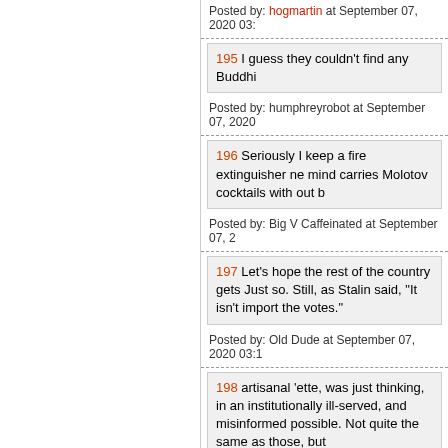Posted by: hogmartin at September 07, 2020 03:
195 I guess they couldn't find any Buddhi
Posted by: humphreyrobot at September 07, 2020
196 Seriously I keep a fire extinguisher ne mind carries Molotov cocktails with out b
Posted by: Big V Caffeinated at September 07, 2
197 Let's hope the rest of the country gets Just so. Still, as Stalin said, "It isn't import the votes."
Posted by: Old Dude at September 07, 2020 03:1
198 artisanal 'ette, was just thinking, in an institutionally ill-served, and misinformed possible. Not quite the same as those, but
Posted by: rhomboid at September 07, 2020 03: